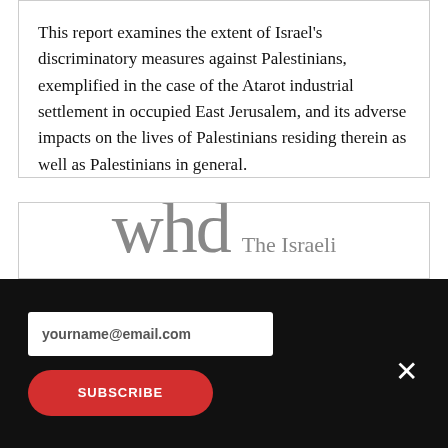This report examines the extent of Israel's discriminatory measures against Palestinians, exemplified in the case of the Atarot industrial settlement in occupied East Jerusalem, and its adverse impacts on the lives of Palestinians residing therein as well as Palestinians in general.
[Figure (logo): WHD logo with text 'The Israeli' partially visible to the right]
yourname@email.com
SUBSCRIBE